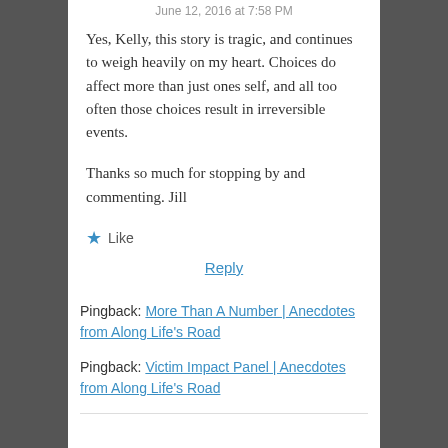June 12, 2016 at 7:58 PM
Yes, Kelly, this story is tragic, and continues to weigh heavily on my heart. Choices do affect more than just ones self, and all too often those choices result in irreversible events.
Thanks so much for stopping by and commenting. Jill
★ Like
Reply
Pingback: More Than A Number | Anecdotes from Along Life's Road
Pingback: Victim Impact Panel | Anecdotes from Along Life's Road